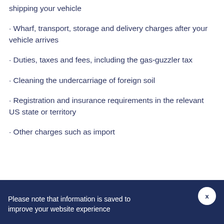shipping your vehicle
· Wharf, transport, storage and delivery charges after your vehicle arrives
· Duties, taxes and fees, including the gas-guzzler tax
· Cleaning the undercarriage of foreign soil
· Registration and insurance requirements in the relevant US state or territory
· Other charges such as import
Please note that information is saved to improve your website experience